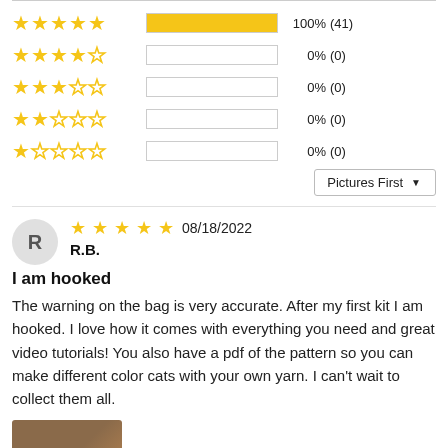[Figure (infographic): Star rating breakdown: 5 stars 100% (41), 4 stars 0% (0), 3 stars 0% (0), 2 stars 0% (0), 1 star 0% (0). Sort dropdown: Pictures First.]
R.B. — 08/18/2022 — 5 stars
I am hooked
The warning on the bag is very accurate. After my first kit I am hooked. I love how it comes with everything you need and great video tutorials! You also have a pdf of the pattern so you can make different color cats with your own yarn. I can't wait to collect them all.
[Figure (photo): Thumbnail image of a product, partially visible at the bottom of the page.]